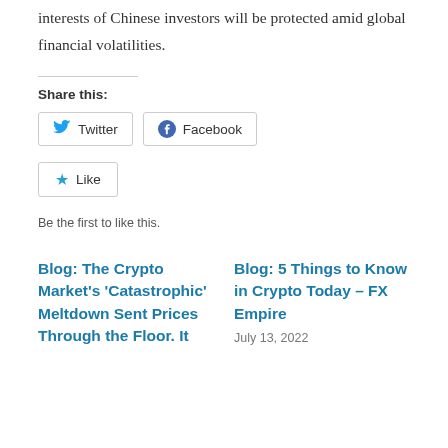interests of Chinese investors will be protected amid global financial volatilities.
Share this:
[Figure (other): Social share buttons: Twitter and Facebook]
[Figure (other): Like button with star icon]
Be the first to like this.
Blog: The Crypto Market’s ‘Catastrophic’ Meltdown Sent Prices Through the Floor. It
Blog: 5 Things to Know in Crypto Today – FX Empire
July 13, 2022